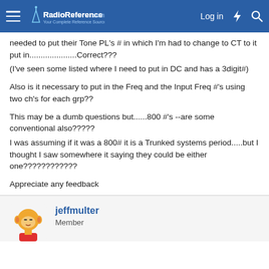RadioReference.com — Log in
needed to put their Tone PL's # in which I'm had to change to CT to it put in.....................Correct???
(I've seen some listed where I need to put in DC and has a 3digit#)

Also is it necessary to put in the Freq and the Input Freq #'s using two ch's for each grp??

This may be a dumb questions but......800 #'s --are some conventional also?????
I was assuming if it was a 800# it is a Trunked systems period.....but I thought I saw somewhere it saying they could be either one????????????

Appreciate any feedback
jeffmulter
Member